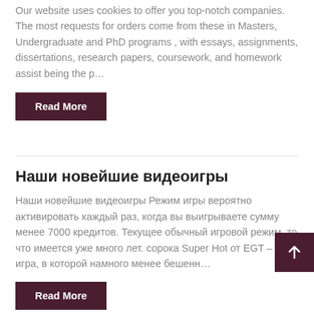Our website uses cookies to offer you top-notch companies. The most requests for orders come from these in Masters, Undergraduate and PhD programs , with essays, assignments, dissertations, research papers, coursework, and homework assist being the p…
Read More
Наши новейшие видеоигры
Наши новейшие видеоигры Режим игры вероятно активировать каждый раз, когда вы выигрываете сумму менее 7000 кредитов. Текущее обычный игровой режим, то что имеется уже много лет. сорока Super Hot от EGT – игра, в которой намного менее бешенн…
Read More